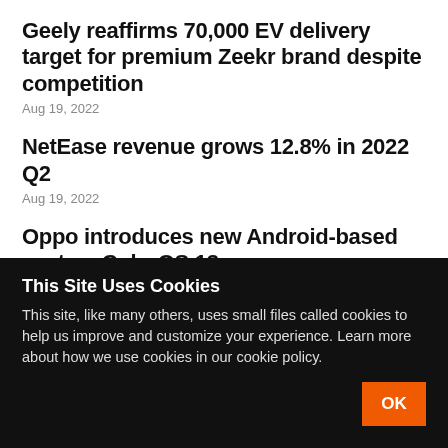Geely reaffirms 70,000 EV delivery target for premium Zeekr brand despite competition
Aug 19, 2022
NetEase revenue grows 12.8% in 2022 Q2
Aug 19, 2022
Oppo introduces new Android-based system ColorOS 13 overseas
Aug 19, 2022
Pinduoduo to launch cross-border retail platform…
This Site Uses Cookies
This site, like many others, uses small files called cookies to help us improve and customize your experience. Learn more about how we use cookies in our cookie policy.
OK